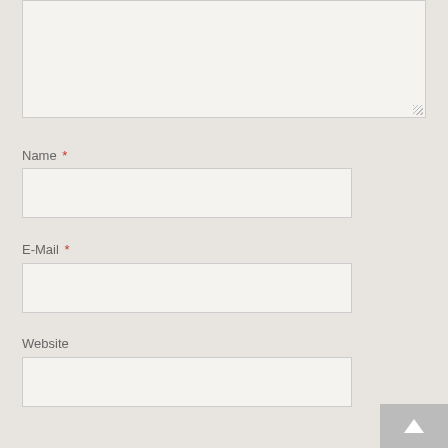[Figure (screenshot): Textarea input field — top of a web comment form, showing a large empty text area with a resize handle in the bottom-right corner.]
Name *
[Figure (screenshot): Name input field — empty single-line text input box.]
E-Mail *
[Figure (screenshot): E-Mail input field — empty single-line text input box.]
Website
[Figure (screenshot): Website input field — empty single-line text input box.]
[Figure (screenshot): Scroll-to-top button in bottom-right corner with upward chevron arrow on grey background.]